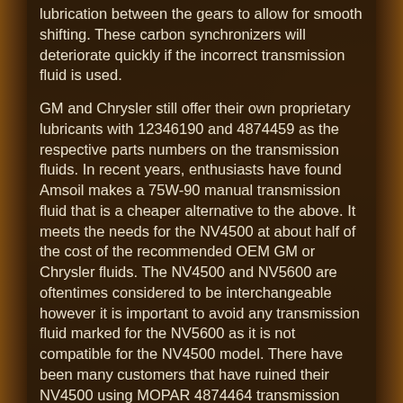lubrication between the gears to allow for smooth shifting. These carbon synchronizers will deteriorate quickly if the incorrect transmission fluid is used.
GM and Chrysler still offer their own proprietary lubricants with 12346190 and 4874459 as the respective parts numbers on the transmission fluids. In recent years, enthusiasts have found Amsoil makes a 75W-90 manual transmission fluid that is a cheaper alternative to the above. It meets the needs for the NV4500 at about half of the cost of the recommended OEM GM or Chrysler fluids. The NV4500 and NV5600 are oftentimes considered to be interchangeable however it is important to avoid any transmission fluid marked for the NV5600 as it is not compatible for the NV4500 model. There have been many customers that have ruined their NV4500 using MOPAR 4874464 transmission fluid which is only rated for the NV5600. They thought it would work for both and found out the hard way!
Issues with the NV4500